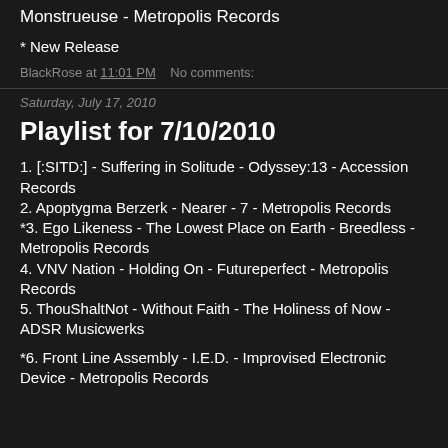Monstrueuse - Metropolis Records
* New Release
BlackRose at 11:01 PM    No comments:
Saturday, July 17, 2010
Playlist for 7/10/2010
1. [:SITD:] - Suffering in Solitude - Odyssey:13 - Accession Records
2. Apoptygma Berzerk - Nearer - 7 - Metropolis Records
*3. Ego Likeness - The Lowest Place on Earth - Breedless - Metropolis Records
4. VNV Nation - Holding On - Futureperfect - Metropolis Records
5. ThouShaltNot - Without Faith - The Holiness of Now - ADSR Musicwerks
*6. Front Line Assembly - I.E.D. - Improvised Electronic Device - Metropolis Records